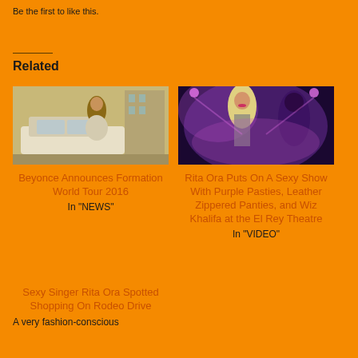Be the first to like this.
Related
[Figure (photo): Photo of Beyonce near a white car]
Beyonce Announces Formation World Tour 2016
In "NEWS"
[Figure (photo): Photo of Rita Ora performing on stage with purple lighting]
Rita Ora Puts On A Sexy Show With Purple Pasties, Leather Zippered Panties, and Wiz Khalifa at the El Rey Theatre
In "VIDEO"
Sexy Singer Rita Ora Spotted Shopping On Rodeo Drive
A very fashion-conscious